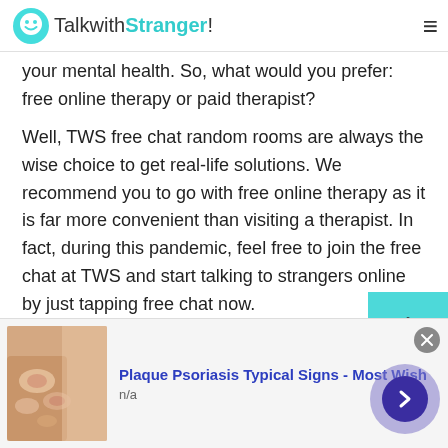TalkwithStranger!
your mental health. So, what would you prefer: free online therapy or paid therapist?
Well, TWS free chat random rooms are always the wise choice to get real-life solutions. We recommend you to go with free online therapy as it is far more convenient than visiting a therapist. In fact, during this pandemic, feel free to join the free chat at TWS and start talking to strangers online by just tapping free chat now.
Random chat rooms for all gender and age groups
[Figure (screenshot): Advertisement banner: Plaque Psoriasis Typical Signs - Most Wish, with thumbnail image and navigation arrow button]